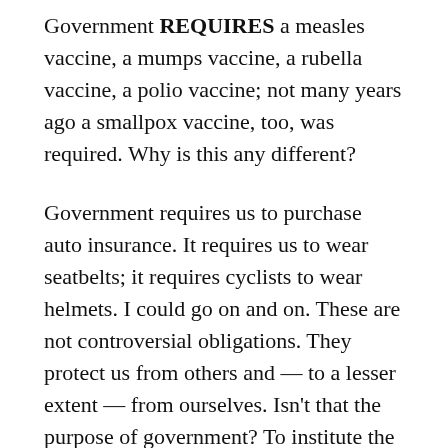Government REQUIRES a measles vaccine, a mumps vaccine, a rubella vaccine, a polio vaccine; not many years ago a smallpox vaccine, too, was required. Why is this any different?
Government requires us to purchase auto insurance. It requires us to wear seatbelts; it requires cyclists to wear helmets. I could go on and on. These are not controversial obligations. They protect us from others and — to a lesser extent — from ourselves. Isn't that the purpose of government? To institute the rules of a civil society?
Mr. Schmidt, I applaud your efforts; really, I do.